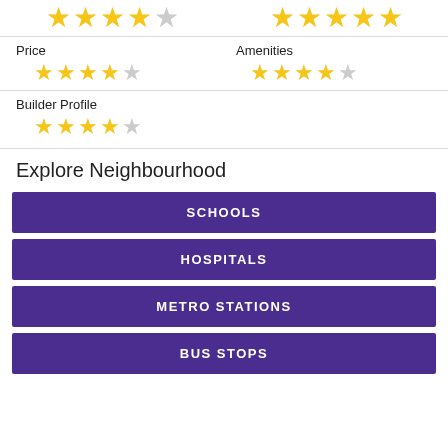[Figure (other): Star ratings row at top: left column shows 4.5 stars (4 filled, 1 half), right column shows 5 stars (5 filled)]
Price
[Figure (other): Price star rating: 4.5 stars (4 filled, 1 half in grey)]
Amenities
[Figure (other): Amenities star rating: 4.5 stars (4 filled, 1 half/grey)]
Builder Profile
[Figure (other): Builder Profile star rating: 4.5 stars (4 filled, 1 partial grey)]
Explore Neighbourhood
SCHOOLS
HOSPITALS
METRO STATIONS
BUS STOPS